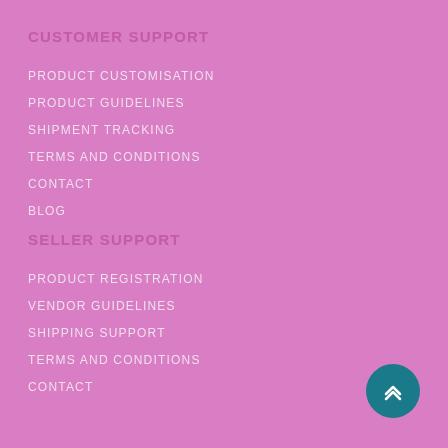CUSTOMER SUPPORT
PRODUCT CUSTOMISATION
PRODUCT GUIDELINES
SHIPMENT TRACKING
TERMS AND CONDITIONS
CONTACT
BLOG
SELLER SUPPORT
PRODUCT REGISTRATION
VENDOR GUIDELINES
SHIPPING SUPPORT
TERMS AND CONDITIONS
CONTACT